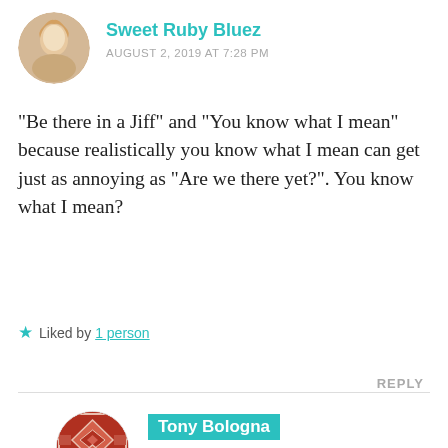[Figure (photo): Circular avatar photo of Sweet Ruby Bluez, a woman with long blonde hair]
Sweet Ruby Bluez
AUGUST 2, 2019 AT 7:28 PM
“Be there in a Jiff” and “You know what I mean” because realistically you know what I mean can get just as annoying as “Are we there yet?”. You know what I mean?
Liked by 1 person
REPLY
[Figure (illustration): Square quilt-pattern avatar icon for Tony Bologna in dark red/brown colors with geometric diamond shapes]
Tony Bologna
AUGUST 2, 2019 AT 7:36 PM